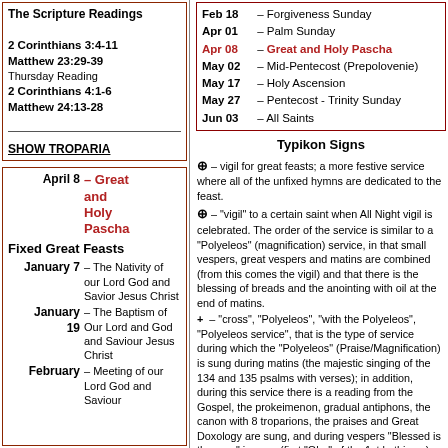The Scripture Readings
2 Corinthians 3:4-11
Matthew 23:29-39
Thursday Reading
2 Corinthians 4:1-6
Matthew 24:13-28
SHOW TROPARIA
April 8 – Great and Holy Pascha
Fixed Great Feasts
January 7 – The Nativity of our Lord God and Savior Jesus Christ
January 19 – The Baptism of Our Lord and God and Saviour Jesus Christ
February [?] – Meeting of our Lord God and Saviour
Feb 18 – Forgiveness Sunday
Apr 01 – Palm Sunday
Apr 08 – Great and Holy Pascha
May 02 – Mid-Pentecost (Prepolovenie)
May 17 – Holy Ascension
May 27 – Pentecost - Trinity Sunday
Jun 03 – All Saints
Typikon Signs
⊕ – vigil for great feasts; a more festive service where all of the unfixed hymns are dedicated to the feast.
⊕ – "vigil" to a certain saint when All Night vigil is celebrated. The order of the service is similar to a "Polyeleos" (magnification) service, in that small vespers, great vespers and matins are combined (from this comes the vigil) and that there is the blessing of breads and the anointing with oil at the end of matins.
+ – "cross", "Polyeleos", "with the Polyeleos", "Polyeleos service", that is the type of service during which the "Polyeleos" (Praise/Magnification) is sung during matins (the majestic singing of the 134 and 135 psalms with verses); in addition, during this service there is a reading from the Gospel, the prokeimenon, gradual antiphons, the canon with 8 troparions, the praises and Great Doxology are sung, and during vespers "Blessed is the man" is sung (first "Glor" of the 1st kathisma), there is an